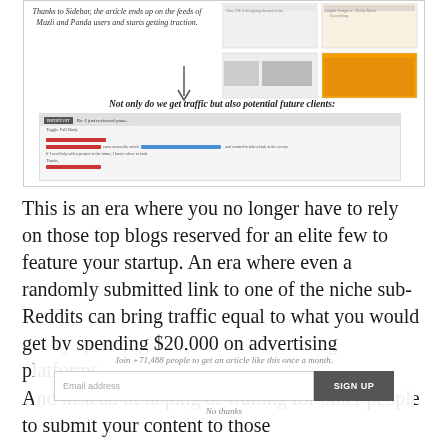[Figure (screenshot): Illustration showing article distribution via Sidebar reaching Muzli and Panda feeds, with a screenshot of an email from a potential client. Contains italic caption text, a downward arrow, and the text 'Not only do we get traffic but also potential future clients:']
This is an era where you no longer have to rely on those top blogs reserved for an elite few to feature your startup. An era where even a randomly submitted link to one of the niche sub-Reddits can bring traffic equal to what you would get by spending $20,000 on advertising platforms.
Join +71,488 people to get an article like this once a month.
And instead of hoping or waiting for other people to submit your content to those